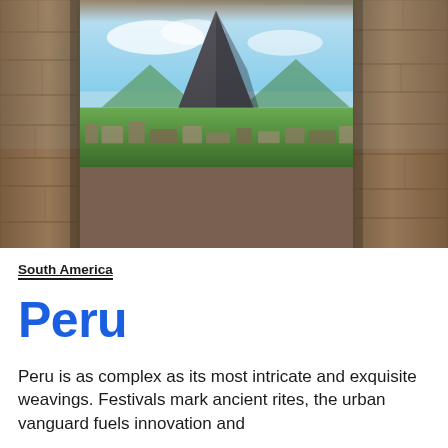[Figure (photo): View through an ancient Inca stone window/doorway at Machu Picchu, showing a dramatic mountain peak, blue sky with clouds, and green ruins below. Stone walls frame the scene on left, right, and top. Photo credit: © Gianella Castro.]
© Gianella Castro
South America
Peru
Peru is as complex as its most intricate and exquisite weavings. Festivals mark ancient rites, the urban vanguard fuels innovation and